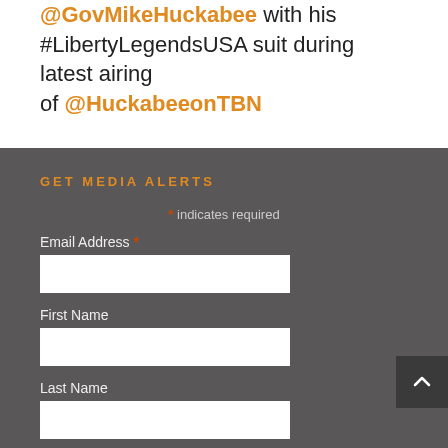@GovMikeHuckabee with his #LibertyLegendsUSA suit during latest airing of @HuckabeeonTBN
GET MEDIA ALERTS
* indicates required
Email Address *
First Name
Last Name
Company